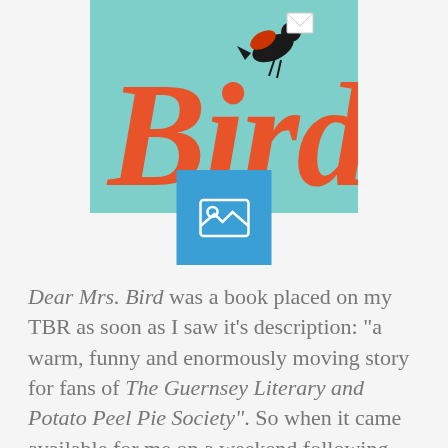[Figure (illustration): Book cover of 'Dear Mrs. Bird' showing orange italic 'Bird' text on a teal/mint background with a black bird silhouette carrying an envelope]
[Figure (other): Blue image placeholder icon with mountain/photo symbol]
Dear Mrs. Bird was a book placed on my TBR as soon as I saw it's description: "a warm, funny and enormously moving story for fans of The Guernsey Literary and Potato Peel Pie Society".  So when it came available for me on a weekend following our tremendously upsetting provincial election outcome, I purposely sought